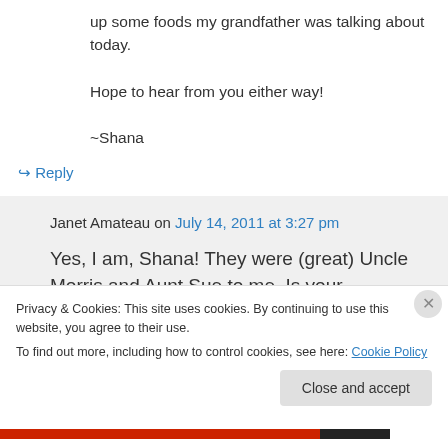up some foods my grandfather was talking about today.
Hope to hear from you either way!
~Shana
↳ Reply
Janet Amateau on July 14, 2011 at 3:27 pm
Yes, I am, Shana! They were (great) Uncle Morris and Aunt Sue to me. Is your
Privacy & Cookies: This site uses cookies. By continuing to use this website, you agree to their use.
To find out more, including how to control cookies, see here: Cookie Policy
Close and accept